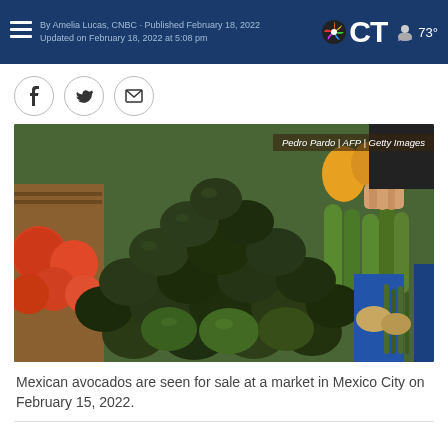By Amelia Lucas, CNBC · Published February 18, 2022 · Updated on February 18, 2022 at 5:08 pm. | NBC CT | 73°
[Figure (photo): A pile of Mexican avocados displayed for sale at a market in Mexico City, with tomatoes on the left and green vegetables on the right. A person's hand is visible at top. Photo credit: Pedro Pardo | AFP | Getty Images]
Mexican avocados are seen for sale at a market in Mexico City on February 15, 2022.